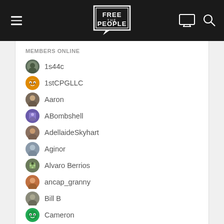Free People — navigation header with hamburger menu, logo, monitor icon, and search icon
MEMBERS ONLINE
1s44c
1stCPGLLC
Aaron
ABombshell
AdellaideSkyhart
Aginor
Alvaro Berrios
ancap_granny
Bill B
Cameron
cavemnkey
CeliceDS
Chezdev
Hangout with people who get it
Join Discord